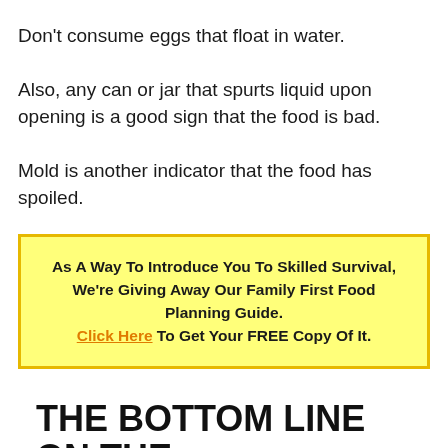Don't consume eggs that float in water.
Also, any can or jar that spurts liquid upon opening is a good sign that the food is bad.
Mold is another indicator that the food has spoiled.
As A Way To Introduce You To Skilled Survival, We're Giving Away Our Family First Food Planning Guide. Click Here To Get Your FREE Copy Of It.
THE BOTTOM LINE ON THE FOOD EXPIRATION DATE